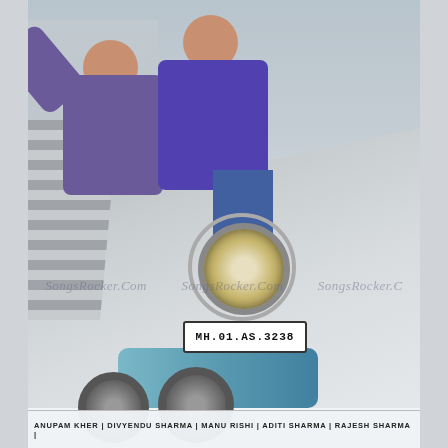[Figure (photo): Movie poster showing three people riding a motorcycle on a road. The riders wear purple/violet shirts. The motorcycle has a license plate reading MH.01.AS.3238. Background shows a city road with a divider wall. Watermark 'SongsRocker.Com' repeated across the middle of the image.]
ANUPAM KHER | DIVYENDU SHARMA | MANU RISHI | ADITI SHARMA | RAJESH SHARMA |